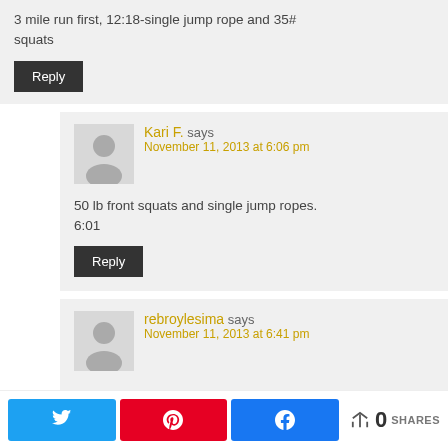3 mile run first, 12:18-single jump rope and 35# squats
Reply
Kari F. says
November 11, 2013 at 6:06 pm
50 lb front squats and single jump ropes.
6:01
Reply
rebroylesima says
November 11, 2013 at 6:41 pm
0 SHARES